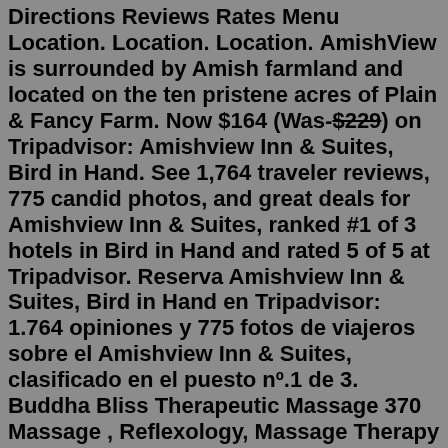Directions Reviews Rates Menu Location. Location. Location. AmishView is surrounded by Amish farmland and located on the ten pristene acres of Plain & Fancy Farm. Now $164 (Was-$229) on Tripadvisor: Amishview Inn & Suites, Bird in Hand. See 1,764 traveler reviews, 775 candid photos, and great deals for Amishview Inn & Suites, ranked #1 of 3 hotels in Bird in Hand and rated 5 of 5 at Tripadvisor. Reserva Amishview Inn & Suites, Bird in Hand en Tripadvisor: 1.764 opiniones y 775 fotos de viajeros sobre el Amishview Inn & Suites, clasificado en el puesto nº.1 de 3. Buddha Bliss Therapeutic Massage 370 Massage , Reflexology, Massage Therapy 873 Sutter St, San Francisco, CA Closed Studio Soothe 317 Massage , Skin Care, Waxing 1883 Hayes St, San Francisco, CA Closed Imperial Spa 735 Day Spas, Massage , Saunas 1875 Geary Blvd, San Francisco, CA Closed Wonderfoot Health Center 242 <b>Massage</b>. . CLOSED: Mondays & Tuesdays. HOLIDAY HOURS. OPEN: Monday, July 4th - 11:30 am to 8 pm. CLOSED: Wednesday, July 6th. 1-800-